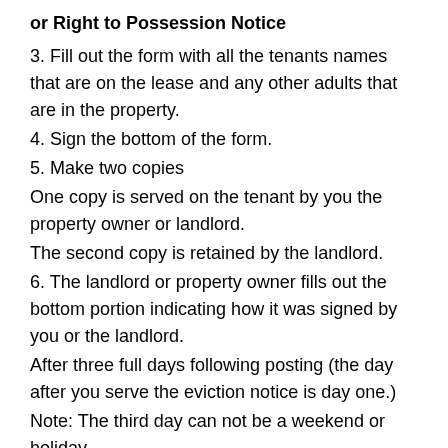or Right to Possession Notice
3. Fill out the form with all the tenants names that are on the lease and any other adults that are in the property.
4. Sign the bottom of the form.
5. Make two copies
One copy is served on the tenant by you the property owner or landlord.
The second copy is retained by the landlord.
6. The landlord or property owner fills out the bottom portion indicating how it was signed by you or the landlord.
After three full days following posting (the day after you serve the eviction notice is day one.)
Note: The third day can not be a weekend or holiday.
7. This form and two copies of the signed lease then need to be filed with the county court the property is located in.